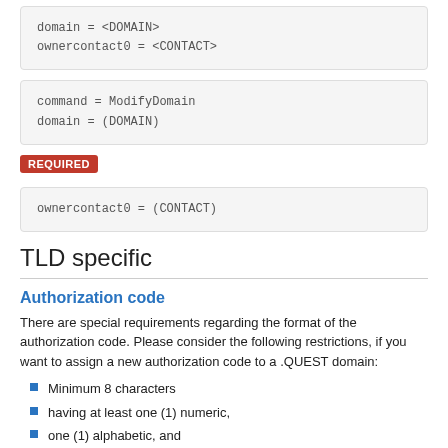domain = <DOMAIN>
ownercontact0 = <CONTACT>
command = ModifyDomain
domain = (DOMAIN)
REQUIRED
ownercontact0 = (CONTACT)
TLD specific
Authorization code
There are special requirements regarding the format of the authorization code. Please consider the following restrictions, if you want to assign a new authorization code to a .QUEST domain:
Minimum 8 characters
having at least one (1) numeric,
one (1) alphabetic, and
one (1) special character